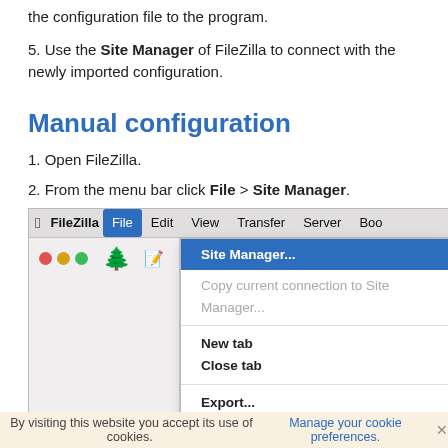the configuration file to the program.
5. Use the Site Manager of FileZilla to connect with the newly imported configuration.
Manual configuration
1. Open FileZilla.
2. From the menu bar click File > Site Manager.
[Figure (screenshot): FileZilla application menu bar screenshot showing the File menu open with Site Manager... highlighted, along with other menu items: Copy current connection to Site Manager..., New tab, Close tab, Export..., Import...]
By visiting this website you accept its use of cookies. Manage your cookie preferences. ×